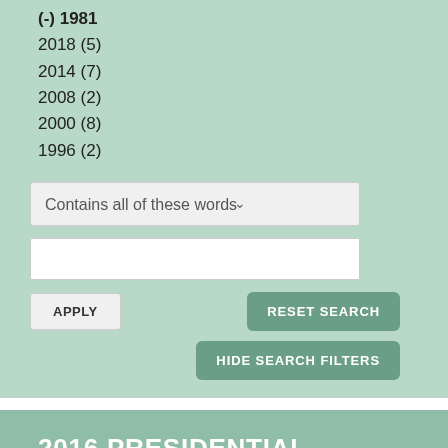(-) 1981
2018 (5)
2014 (7)
2008 (2)
2000 (8)
1996 (2)
Contains all of these words
APPLY
RESET SEARCH
HIDE SEARCH FILTERS
2016 PRESIDENTIAL EXIT POLLING BY EDUCATION